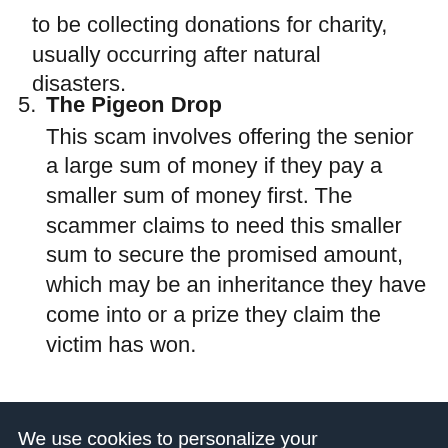to be collecting donations for charity, usually occurring after natural disasters.
5. The Pigeon Drop
This scam involves offering the senior a large sum of money if they pay a smaller sum of money first. The scammer claims to need this smaller sum to secure the promised amount, which may be an inheritance they have come into or a prize they claim the victim has won.
We use cookies to personalize your experience on our site. To find out more, please read our data policy.
OK
The simplest and most effective way to help